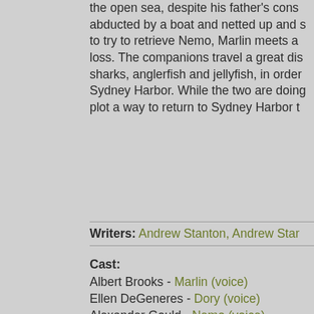the open sea, despite his father's cons... abducted by a boat and netted up and s... to try to retrieve Nemo, Marlin meets a... loss. The companions travel a great dis... sharks, anglerfish and jellyfish, in order... Sydney Harbor. While the two are doing... plot a way to return to Sydney Harbor t...
Writers: Andrew Stanton, Andrew Star...
Cast: Albert Brooks - Marlin (voice), Ellen DeGeneres - Dory (voice), Alexander Gould - Nemo (voice), Willem Dafoe - Gill (voice), Brad Garrett - Bloat (voice), Allison Janney - Peach (voice), Austin Pendleton - Gurgle (voice), Stephen Root - Bubbles (voice), Vicki Lewis - Deb / Flo (voice), Joe Ranft - Jacques (voice), Geoffrey Rush - Nigel (voice), Andrew Stanton - Crush (voice), Elizabeth Perkins - Coral (voice)